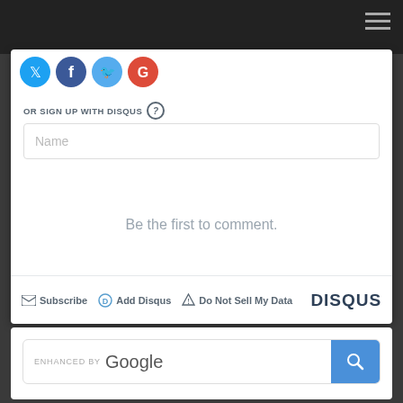[Figure (screenshot): Top navigation bar with hamburger menu icon (three horizontal lines) on dark background]
[Figure (screenshot): Disqus comment widget showing social sign-in icons, OR SIGN UP WITH DISQUS label, Name input field, 'Be the first to comment.' message, and footer with Subscribe, Add Disqus, Do Not Sell My Data links and DISQUS logo]
[Figure (screenshot): Enhanced by Google search bar with blue search button]